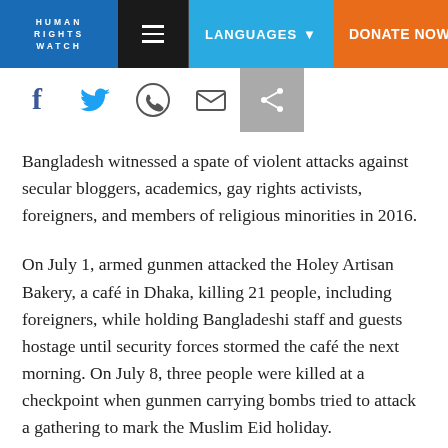HUMAN RIGHTS WATCH | LANGUAGES | DONATE NOW
[Figure (screenshot): Social media sharing icons: Facebook, Twitter, WhatsApp, Email, Share]
Bangladesh witnessed a spate of violent attacks against secular bloggers, academics, gay rights activists, foreigners, and members of religious minorities in 2016.
On July 1, armed gunmen attacked the Holey Artisan Bakery, a café in Dhaka, killing 21 people, including foreigners, while holding Bangladeshi staff and guests hostage until security forces stormed the café the next morning. On July 8, three people were killed at a checkpoint when gunmen carrying bombs tried to attack a gathering to mark the Muslim Eid holiday.
Although Islamist extremist groups, including the Islamic State or ISIS, claimed responsibility for most